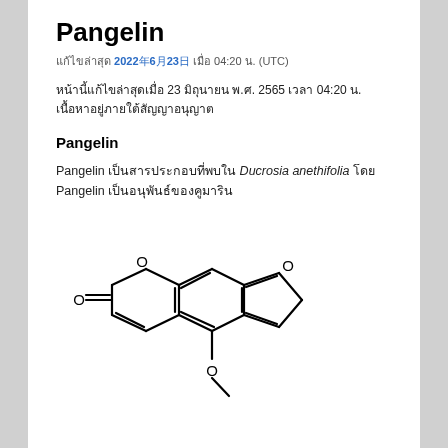Pangelin
แก้ไขล่าสุด 2022年6月23日 เมื่อ 04:20 น. (UTC)
หน้านี้แก้ไขล่าสุดเมื่อ 23 มิถุนายน พ.ศ. 2565 เวลา 04:20 น. เนื้อหาอยู่ภายใต้สัญญาอนุญาต
Pangelin
Pangelin เป็นสารประกอบที่พบใน Ducrosia anethifolia โดย Pangelin เป็นอนุพันธ์ของคูมาริน
[Figure (engineering-diagram): Chemical structure of Pangelin - a furocoumarin/benzofuran-fused coumarin structure with a methoxy group, shown as a skeletal structural formula]